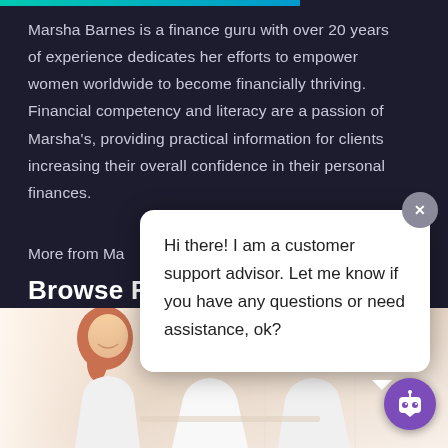Marsha Barnes is a finance guru with over 20 years of experience dedicates her efforts to empower women worldwide to become financially thriving. Financial competency and literacy are a passion of Marsha's, providing practical information for clients increasing their overall confidence in their personal finances.
More from Ma…
Browse R…
[Figure (screenshot): Chat popup overlay with message: 'Hi there! I am a customer support advisor. Let me know if you have any questions or need assistance, ok?' with a close (X) button and a purple chatbot icon at bottom right.]
[Figure (photo): Photo of three smiling women looking at something together, appearing to be in a bright office or workspace setting.]